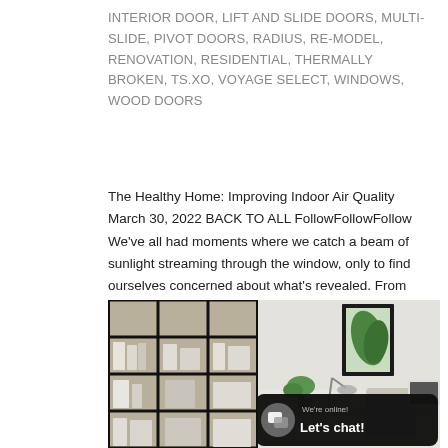INTERIOR DOOR, LIFT AND SLIDE DOORS, MULTI-SLIDE, PIVOT DOORS, RADIUS, RE-MODEL, RENOVATION, RESIDENTIAL, THERMALLY BROKEN, TS.XO, VOYAGE SELECT, WINDOWS, WOOD DOORS
The Healthy Home: Improving Indoor Air Quality March 30, 2022 BACK TO ALL FollowFollowFollow We've all had moments where we catch a beam of sunlight streaming through the window, only to find ourselves concerned about what's revealed. From dust to dander, the many…
[Figure (photo): Interior room photo showing a black steel-framed glass door/partition on the left with shelving visible behind it, and a home office desk area on the right with a plant, lamp, and framed botanical art. A chat widget overlay reads 'We're online! Let's chat!']